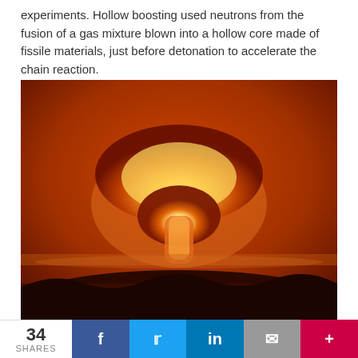experiments. Hollow boosting used neutrons from the fusion of a gas mixture blown into a hollow core made of fissile materials, just before detonation to accelerate the chain reaction.
[Figure (photo): Nuclear explosion mushroom cloud photograph, showing a large glowing fireball and mushroom cloud rising over a dark foreground landscape, illuminated in shades of orange, red, and yellow.]
In January 1950, President Harry Truman directed the Atomic
34 SHARES  f  y  in  ✉  +